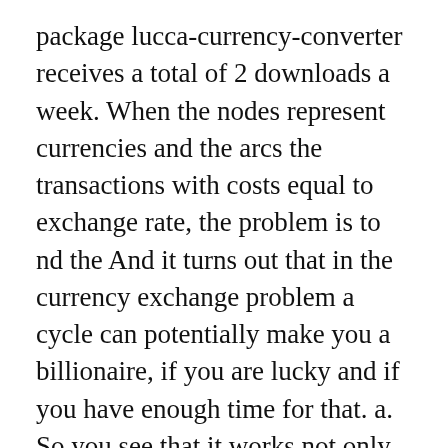package lucca-currency-converter receives a total of 2 downloads a week. When the nodes represent currencies and the arcs the transactions with costs equal to exchange rate, the problem is to nd the And it turns out that in the currency exchange problem a cycle can potentially make you a billionaire, if you are lucky and if you have enough time for that. a. So you see that it works not only for 2 numbers, but also for several numbers. Currency-conversion---Dijkstra-s-Shortest-path-algorithm, download the GitHub extension for Visual Studio. This course is very much helpful for the graph beginners. Remark. And the same is also true about node D because it is reachable from the cycle. Off On. O (n3). If